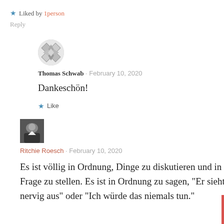★ Liked by 1person
Reply
[Figure (illustration): Round avatar with geometric diamond/star pattern in gray and white for user Thomas Schwab]
Thomas Schwab · February 10, 2020
Dankeschön!
★ Like
[Figure (photo): Small rectangular avatar photo showing a person or figure, dark tones, for user Ritchie Roesch]
Ritchie Roesch · February 10, 2020
Es ist völlig in Ordnung, Dinge zu diskutieren und in Frage zu stellen. Es ist in Ordnung zu sagen, "Er sieht nervig aus" oder "Ich würde das niemals tun."